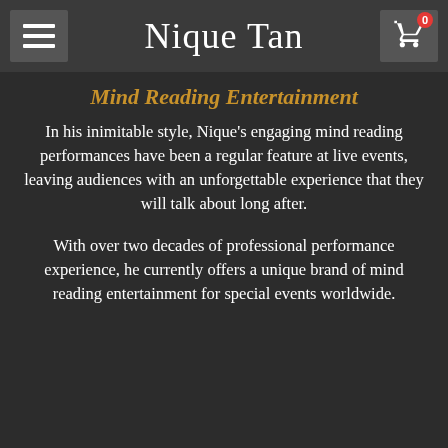Nique Tan
Mind Reading Entertainment
In his inimitable style, Nique's engaging mind reading performances have been a regular feature at live events, leaving audiences with an unforgettable experience that they will talk about long after.
With over two decades of professional performance experience, he currently offers a unique brand of mind reading entertainment for special events worldwide.